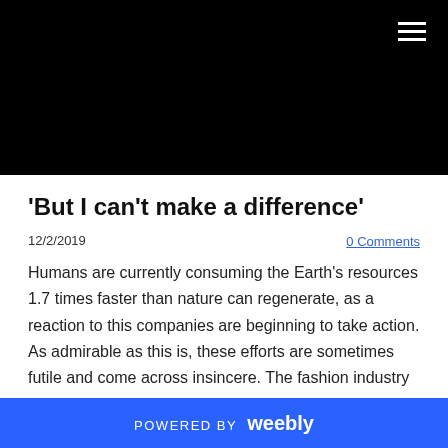'But I can't make a difference'
12/2/2019
0 Comments
Humans are currently consuming the Earth's resources 1.7 times faster than nature can regenerate, as a reaction to this companies are beginning to take action. As admirable as this is, these efforts are sometimes futile and come across insincere. The fashion industry is responsible for 8% of the worlds
POWERED BY weebly